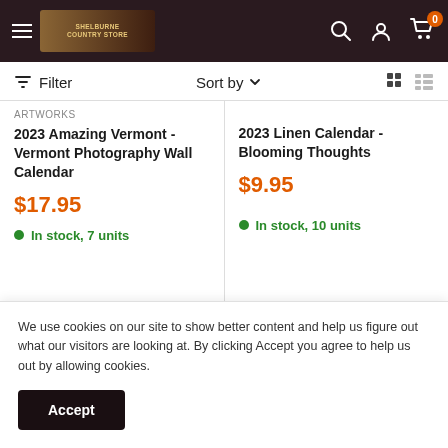Shelburne Country Store navigation header
Filter  Sort by
ARTWORKS
2023 Amazing Vermont - Vermont Photography Wall Calendar
$17.95
In stock, 7 units
2023 Linen Calendar - Blooming Thoughts
$9.95
In stock, 10 units
We use cookies on our site to show better content and help us figure out what our visitors are looking at. By clicking Accept you agree to help us out by allowing cookies.